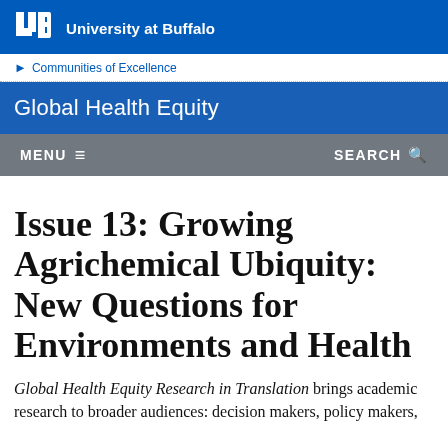[Figure (logo): University at Buffalo (UB) logo with text 'University at Buffalo']
Communities of Excellence
Global Health Equity
MENU  SEARCH
Issue 13: Growing Agrichemical Ubiquity: New Questions for Environments and Health
Global Health Equity Research in Translation brings academic research to broader audiences: decision makers, policy makers, advocates, and others in communities...